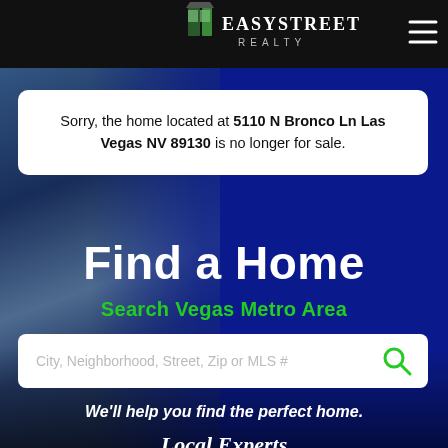EasyStreet Realty
Sorry, the home located at 5110 N Bronco Ln Las Vegas NV 89130 is no longer for sale.
Find a Home
Search Vegas Metro Area
City, Neighborhood, Street, Zip or MLS #
We'll help you find the perfect home.
Local Experts